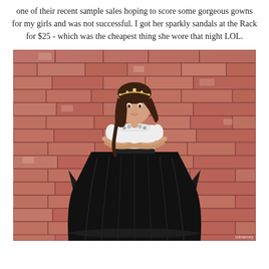one of their recent sample sales hoping to score some gorgeous gowns for my girls and was not successful. I got her sparkly sandals at the Rack for $25 - which was the cheapest thing she wore that night LOL.
[Figure (photo): A young girl wearing a white top with a jeweled neckline and a large black tulle ball gown skirt, wearing a tiara, arms crossed, leaning against a brick wall background.]